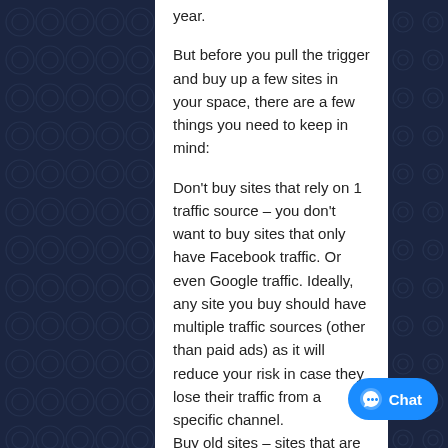year.
But before you pull the trigger and buy up a few sites in your space, there are a few things you need to keep in mind:
Don't buy sites that rely on 1 traffic source – you don't want to buy sites that only have Facebook traffic. Or even Google traffic. Ideally, any site you buy should have multiple traffic sources (other than paid ads) as it will reduce your risk in case they lose their traffic from a specific channel. Buy old sites – sites that are less than 3 years old are risky. Their numbers fluctuate more than older sites. Spend time understanding the